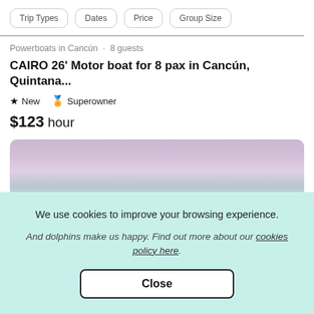Trip Types | Dates | Price | Group Size
Powerboats in Cancún · 8 guests
CAIRO 26' Motor boat for 8 pax in Cancún, Quintana...
★ New 🏅 Superowner
$123 hour
[Figure (photo): Partial view of a boat listing photo showing a sky with pink/purple clouds]
We use cookies to improve your browsing experience. And dolphins make us happy. Find out more about our cookies policy here.
Close